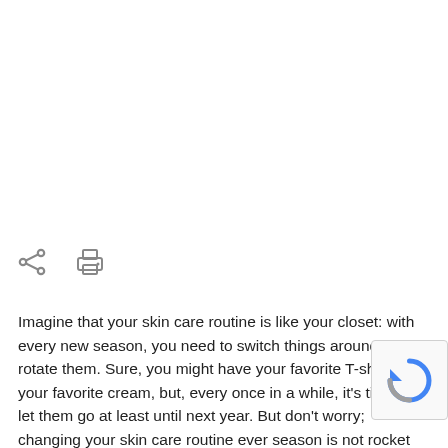[Figure (other): Share icon (less-than arrow shape) and Print icon (printer symbol) in a horizontal row]
Imagine that your skin care routine is like your closet: with every new season, you need to switch things around and rotate them. Sure, you might have your favorite T-shirt or your favorite cream, but, every once in a while, it’s time to let them go at least until next year. But don’t worry; changing your skin care routine ever season is not rocket science. You just need to abide by a few simple principles: